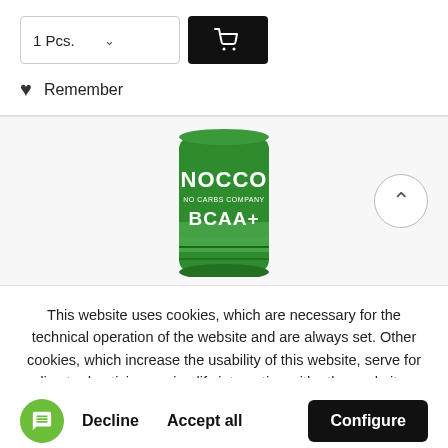1 Pcs.
[Figure (illustration): Shopping cart button (dark/black background with white cart icon)]
Remember
[Figure (photo): NOCCO BCAA+ green energy drink can]
This website uses cookies, which are necessary for the technical operation of the website and are always set. Other cookies, which increase the usability of this website, serve for direct advertising or simplify interaction with other websites and social networks, will only be used with your consent.
Decline
Accept all
Configure